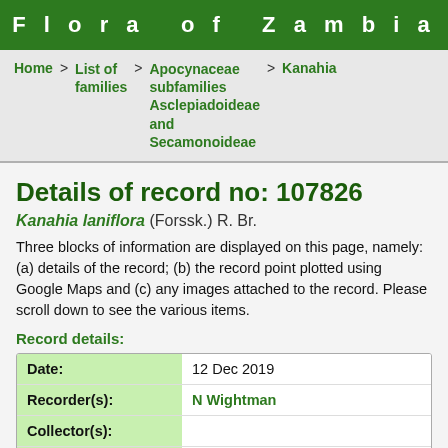Flora of Zambia
Home > List of families > Apocynaceae subfamilies Asclepiadoideae and Secamonoideae > Kanahia
Details of record no: 107826
Kanahia laniflora (Forssk.) R. Br.
Three blocks of information are displayed on this page, namely: (a) details of the record; (b) the record point plotted using Google Maps and (c) any images attached to the record. Please scroll down to see the various items.
Record details:
| Field | Value |
| --- | --- |
| Date: | 12 Dec 2019 |
| Recorder(s): | N Wightman |
| Collector(s): |  |
| Determiner(s): | N Wightman |
| Confirmer(s): |  |